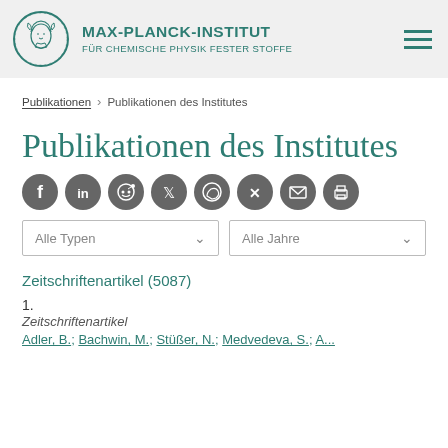MAX-PLANCK-INSTITUT FÜR CHEMISCHE PHYSIK FESTER STOFFE
Publikationen › Publikationen des Institutes
Publikationen des Institutes
[Figure (infographic): Row of 8 social sharing icons: Facebook, LinkedIn, Reddit, Twitter, WhatsApp, Xing, Email, Print — all dark grey circles with white symbols]
Alle Typen   Alle Jahre (dropdown selectors)
Zeitschriftenartikel (5087)
1.
Zeitschriftenartikel
Adler, B.; Bachwin, M.; Stüßer, N.; Medvedeva, S.; A...